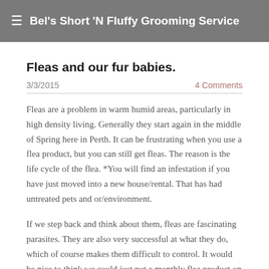Bel's Short 'N Fluffy Grooming Service
Fleas and our fur babies.
3/3/2015   4 Comments
Fleas are a problem in warm humid areas, particularly in high density living. Generally they start again in the middle of Spring here in Perth. It can be frustrating when you use a flea product, but you can still get fleas. The reason is the life cycle of the flea. *You will find an infestation if you have just moved into a new house/rental. That has had untreated pets and or/environment.
If we step back and think about them, fleas are fascinating parasites. They are also very successful at what they do, which of course makes them difficult to control. It would be nice to think we could just put a monthly flea product on our pet then forget about it, but environmental treatment is also